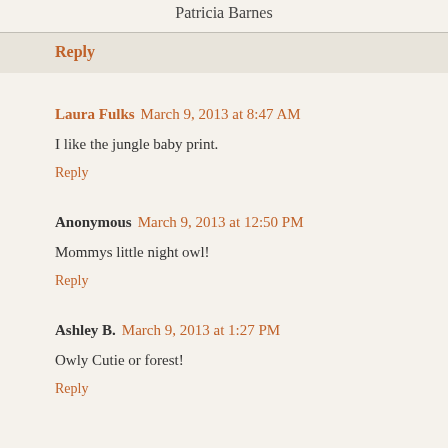Patricia Barnes
Reply
Laura Fulks  March 9, 2013 at 8:47 AM
I like the jungle baby print.
Reply
Anonymous  March 9, 2013 at 12:50 PM
Mommys little night owl!
Reply
Ashley B.  March 9, 2013 at 1:27 PM
Owly Cutie or forest!
Reply